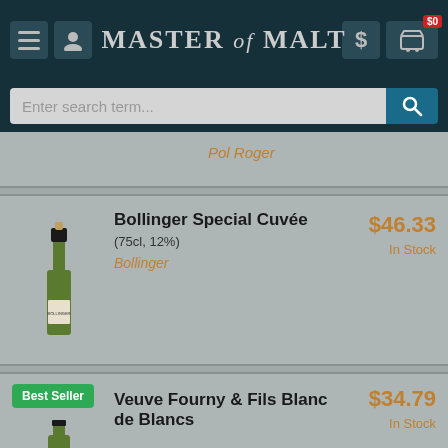Master of Malt
Pol Roger
Bollinger Special Cuvée (75cl, 12%) — Bollinger — $46.33 — In Stock
Best Seller — Veuve Fourny & Fils Blanc de Blancs — $34.79 — In Stock